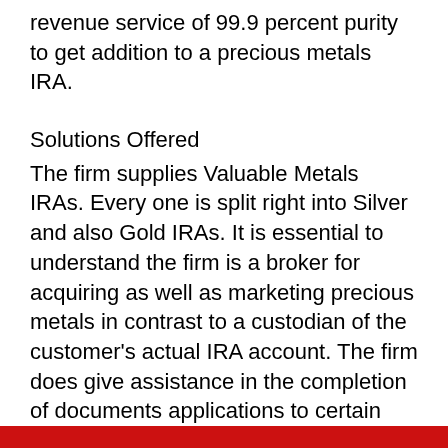revenue service of 99.9 percent purity to get addition to a precious metals IRA.
Solutions Offered
The firm supplies Valuable Metals IRAs. Every one is split right into Silver and also Gold IRAs. It is essential to understand the firm is a broker for acquiring as well as marketing precious metals in contrast to a custodian of the customer's actual IRA account. The firm does give assistance in the completion of documents applications to certain custodian firms. Customers additionally get support in buying bullion and coins approved by the internal revenue service to consist of in Rare-earth element IRAs.
[Figure (other): Red horizontal bar at the bottom of the page]